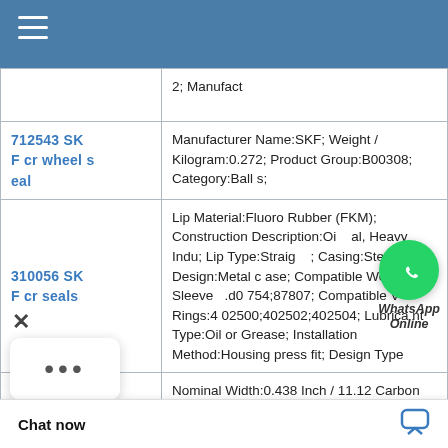| Product | Details |
| --- | --- |
|  | 2; Manufact |
| 712543 SKF cr wheel seal | Manufacturer Name:SKF; Weight / Kilogram:0.272; Product Group:B00308; Category:Ball s; |
| 310056 SKF cr seals | Lip Material:Fluoro Rubber (FKM); Construction Description:Oil al, Heavy Indu; Lip Type:Straight; Casing:Steel; Case Design:Metal c ase; Compatible Wear Sleeves:d0 754;87807; Compatible V-Rings:4 02500;402502;402504; Lubrica nt Type:Oil or Grease; Installation Method:Housing press fit; Design Type |
|  | Nominal Width:0.438 Inch / 11.12 Carbon Steel Gart S:0.378; Actual Wi /11.125; Type of S |
[Figure (other): WhatsApp Online floating button overlay with green circle icon and italic bold label 'WhatsApp Online']
× ... Chat now